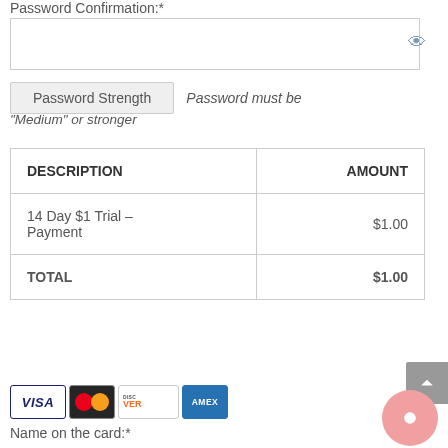Password Confirmation:*
[Figure (screenshot): Password input field with eye icon for show/hide]
Password Strength   Password must be "Medium" or stronger
| DESCRIPTION | AMOUNT |
| --- | --- |
| 14 Day $1 Trial – Payment | $1.00 |
| TOTAL | $1.00 |
[Figure (illustration): Payment card icons: VISA, Mastercard, Discover, AMEX]
Name on the card:*
[Figure (screenshot): Name on card input field]